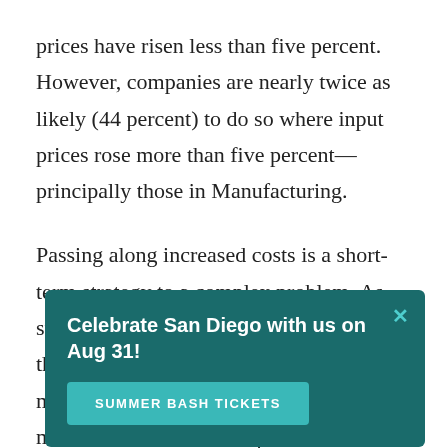prices have risen less than five percent. However, companies are nearly twice as likely (44 percent) to do so where input prices rose more than five percent—principally those in Manufacturing.
Passing along increased costs is a short-term strategy to a complex problem. As such, some companies are reevaluating their supply chains, m[...]the m[...]puts or o[...]es surveyed, o[...]sing the Port of San Diego. However, [...] (27 percent)
[Figure (infographic): A modal popup overlay on top of the article text. Dark teal background with white bold text reading 'Celebrate San Diego with us on Aug 31!' and a teal button labeled 'SUMMER BASH TICKETS'. An X close button in teal is in the upper right corner.]